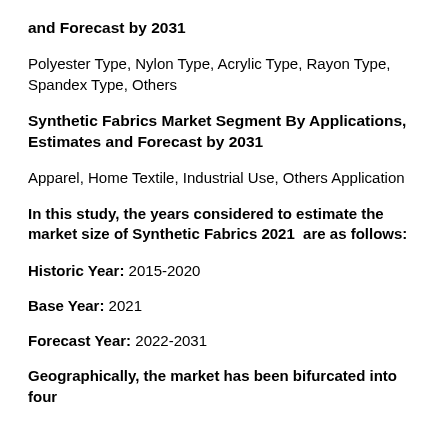and Forecast by 2031
Polyester Type, Nylon Type, Acrylic Type, Rayon Type, Spandex Type, Others
Synthetic Fabrics Market Segment By Applications, Estimates and Forecast by 2031
Apparel, Home Textile, Industrial Use, Others Application
In this study, the years considered to estimate the market size of Synthetic Fabrics 2021  are as follows:
Historic Year: 2015-2020
Base Year: 2021
Forecast Year: 2022-2031
Geographically, the market has been bifurcated into four